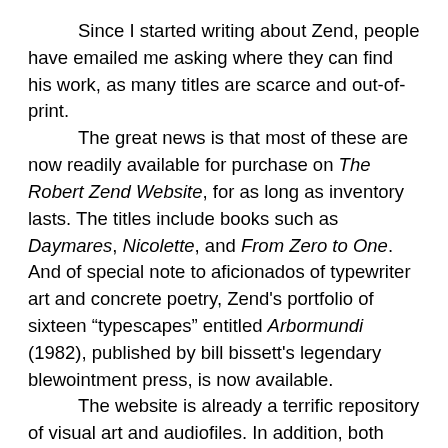Since I started writing about Zend, people have emailed me asking where they can find his work, as many titles are scarce and out-of-print. The great news is that most of these are now readily available for purchase on The Robert Zend Website, for as long as inventory lasts. The titles include books such as Daymares, Nicolette, and From Zero to One. And of special note to aficionados of typewriter art and concrete poetry, Zend's portfolio of sixteen “typescapes” entitled Arbormundi (1982), published by bill bissett's legendary blewointment press, is now available. The website is already a terrific repository of visual art and audiofiles. In addition, both published and hitherto unpublished materials, including excerpts from Zend's magnum opus, Oāb, are available on the site by voluntary donation. And Natalie reports that much more will be